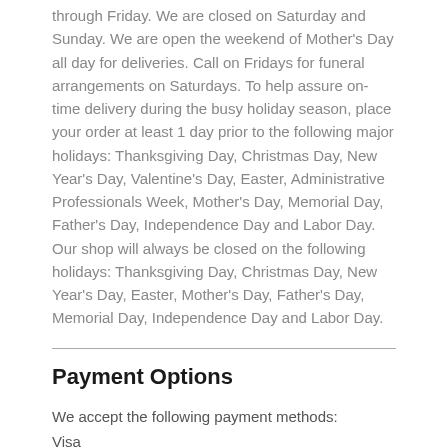through Friday. We are closed on Saturday and Sunday. We are open the weekend of Mother's Day all day for deliveries. Call on Fridays for funeral arrangements on Saturdays. To help assure on-time delivery during the busy holiday season, place your order at least 1 day prior to the following major holidays: Thanksgiving Day, Christmas Day, New Year's Day, Valentine's Day, Easter, Administrative Professionals Week, Mother's Day, Memorial Day, Father's Day, Independence Day and Labor Day. Our shop will always be closed on the following holidays: Thanksgiving Day, Christmas Day, New Year's Day, Easter, Mother's Day, Father's Day, Memorial Day, Independence Day and Labor Day.
Payment Options
We accept the following payment methods:
Visa
MasterCard